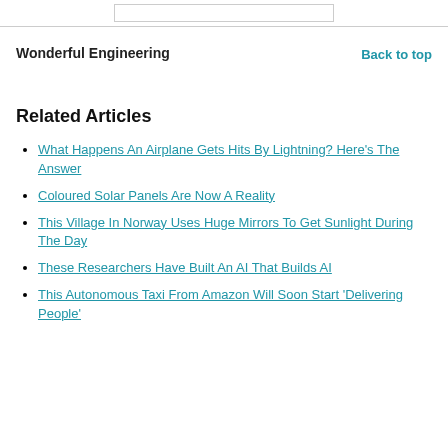Wonderful Engineering
Related Articles
What Happens An Airplane Gets Hits By Lightning? Here’s The Answer
Coloured Solar Panels Are Now A Reality
This Village In Norway Uses Huge Mirrors To Get Sunlight During The Day
These Researchers Have Built An AI That Builds AI
This Autonomous Taxi From Amazon Will Soon Start ‘Delivering People’